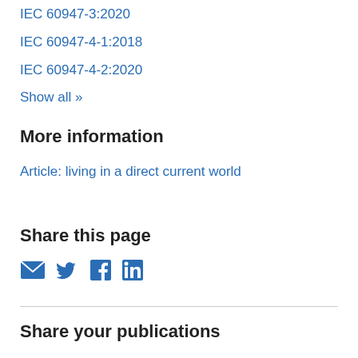IEC 60947-3:2020
IEC 60947-4-1:2018
IEC 60947-4-2:2020
Show all »
More information
Article: living in a direct current world
Share this page
[Figure (infographic): Social share icons: email, Twitter, Facebook, LinkedIn]
Share your publications